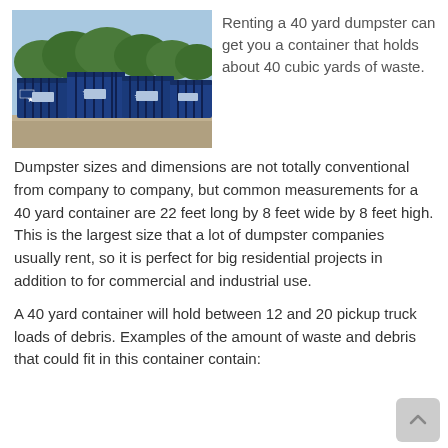[Figure (photo): Several large blue 40-yard roll-off dumpsters lined up in a gravel lot with trees in the background]
Renting a 40 yard dumpster can get you a container that holds about 40 cubic yards of waste.
Dumpster sizes and dimensions are not totally conventional from company to company, but common measurements for a 40 yard container are 22 feet long by 8 feet wide by 8 feet high. This is the largest size that a lot of dumpster companies usually rent, so it is perfect for big residential projects in addition to for commercial and industrial use.
A 40 yard container will hold between 12 and 20 pickup truck loads of debris. Examples of the amount of waste and debris that could fit in this container contain: